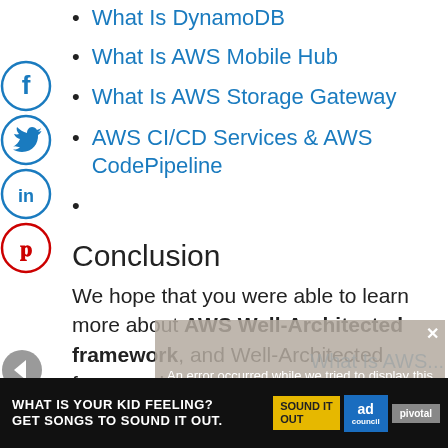What Is DynamoDB
What Is AWS Mobile Hub
What Is AWS Storage Gateway
AWS CI/CD Services & AWS CodePipeline
Conclusion
We hope that you were able to learn more about AWS Well-Architected framework, and Well-Architected framework training.